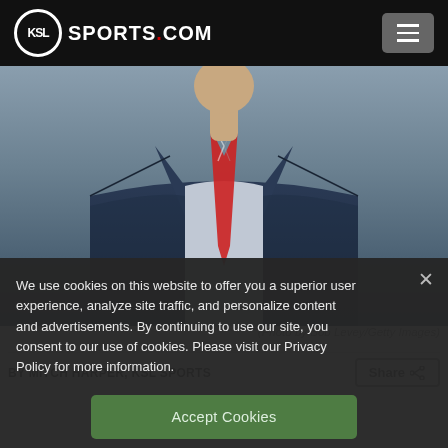KSL SPORTS.COM
[Figure (photo): Man in navy blue suit with red striped tie, photo by Bob Levey/Getty Images]
(Photo by Bob Levey/Getty Images)
BY MITCH HARPER, KSL SPORTS
We use cookies on this website to offer you a superior user experience, analyze site traffic, and personalize content and advertisements. By continuing to use our site, you consent to our use of cookies. Please visit our Privacy Policy for more information.
Accept Cookies